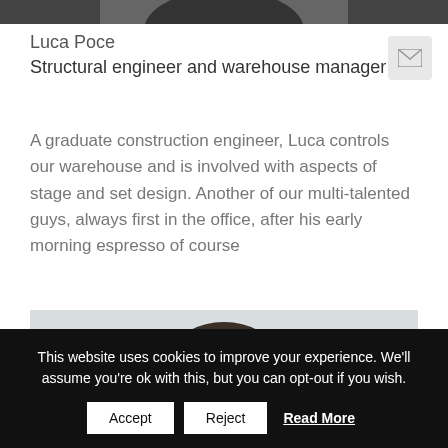[Figure (photo): Partial view of a person in dark clothing, top edge of photo visible at top of page]
Luca Poce
Structural engineer and warehouse manager
[Figure (other): Email/envelope icon button]
A graduate construction engineer, Luca controls our warehouse and is involved with aspects of stage and set design. Another of our multi-talented guys, always first in the office, after his early morning espresso of course
[Figure (photo): Portrait photo of a man with dark hair against a light grey background, head and upper face visible]
This website uses cookies to improve your experience. We'll assume you're ok with this, but you can opt-out if you wish. Accept Reject Read More